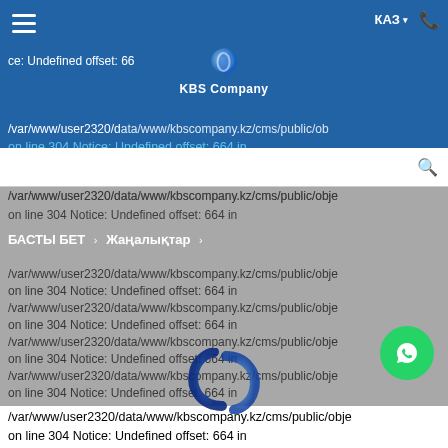[Figure (screenshot): KBS Company website screenshot showing PHP error messages (Undefined offset: 664) overlaid on the page, with navigation header, search bar, breadcrumb overlay, and WhatsApp chat button]
KBS Company — КАЗ
Notice: Undefined offset: 66 /var/www/user2320/data/www/kbscompany.kz/cms/public/obj on line 304 Notice: Undefined offset: 664 in
БАСТЫ БЕТ > Жаңалықтар >
/var/www/user2320/data/www/kbscompany.kz/cms/public/obje on line 304 Notice: Undefined offset: 664 in /var/www/user2320/data/www/kbscompany.kz/cms/public/obje on line 304 Notice: Undefined offset: 664 in /var/www/user2320/data/www/kbscompany.kz/cms/public/obje on line 304 Notice: Undefined offset: 664 in /var/www/user2320/data/www/kbscompany.kz/cms/public/obje on line 304 Notice: Undefined offset: 664 in /var/www/user2320/data/www/kbscompany.kz/cms/public/obje on line 301 Notice: Undefined offset: 664 in /var/www/user2320/data/wwww/kbscompany.kz/cms/public/obje on line 304 Notice: Undefined offset: 664 in /var/www/user2320/data/wwww/kbscompany.kz/cms/public/obje on line 304 Notice: Undefined offset: 664 in /var/www/user2320/data/www/kbscompany.kz/cms/public/obje on line 304 Notice: Undefined offset: 664 in /var/www/user2320/data/www/kbscompany.kz/cms/public/obje on line 304 Notice: Undefined offset: 664 in /var/www/user2320/data/www/kbscompany.kz/cms/public/obje on line 304 Notice: Undefined offset: 664 in /var/www/user2320/data/www/kbscompany.kz/cms/public/obje on line 304 Notice: Undefined offset: 664 in /var/www/user2320/data/www/kbscompany.kz/cms/public/obje on line 304